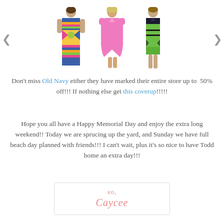[Figure (photo): Carousel of three women's dresses with left and right navigation arrows. Left: colorful printed maxi dress. Center: pink short-sleeve shift dress. Right: green and black printed sleeveless dress.]
Don't miss Old Navy either they have marked their entire store up to  50% off!!! If nothing else get this coverup!!!!!
Hope you all have a Happy Memorial Day and enjoy the extra long weekend!! Today we are sprucing up the yard, and Sunday we have full beach day planned with friends!!! I can't wait, plus it's so nice to have Todd home an extra day!!!
xo,
Caycee